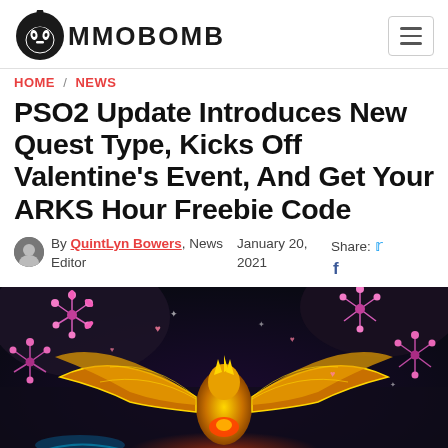MMOBOMB
HOME / NEWS
PSO2 Update Introduces New Quest Type, Kicks Off Valentine's Event, And Get Your ARKS Hour Freebie Code
By QuintLyn Bowers, News Editor   January 20, 2021   Share:
[Figure (screenshot): In-game screenshot from PSO2 showing a large golden winged creature/boss surrounded by bright pink floral firework effects and sparkles against a dark purple and grey rocky background]